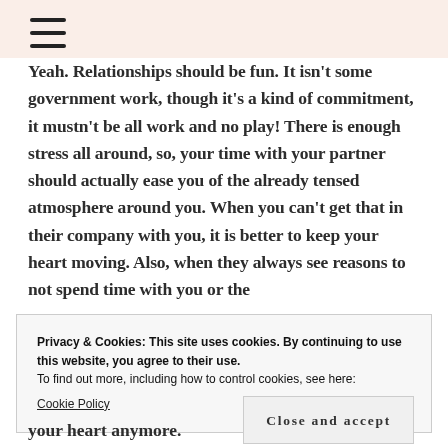Yeah. Relationships should be fun. It isn't some government work, though it's a kind of commitment, it mustn't be all work and no play! There is enough stress all around, so, your time with your partner should actually ease you of the already tensed atmosphere around you. When you can't get that in their company with you, it is better to keep your heart moving. Also, when they always see reasons to not spend time with you or the
Privacy & Cookies: This site uses cookies. By continuing to use this website, you agree to their use.
To find out more, including how to control cookies, see here:
Cookie Policy
Close and accept
your heart anymore.